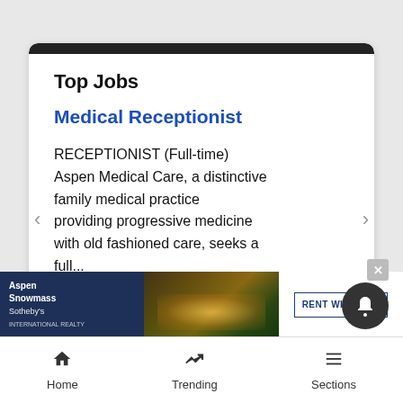Top Jobs
Medical Receptionist
RECEPTIONIST (Full-time) Aspen Medical Care, a distinctive family medical practice providing progressive medicine with old fashioned care, seeks a full...
[Figure (screenshot): Advertisement banner for Aspen Snowmass Sotheby's International Realty showing a lodge at night with forest and RENT WITH US call-to-action button]
Home  Trending  Sections